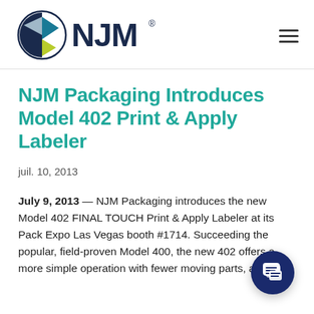NJM [logo]
NJM Packaging Introduces Model 402 Print & Apply Labeler
juil. 10, 2013
July 9, 2013 — NJM Packaging introduces the new Model 402 FINAL TOUCH Print & Apply Labeler at its Pack Expo Las Vegas booth #1714. Succeeding the popular, field-proven Model 400, the new 402 offers a more simple operation with fewer moving parts, a